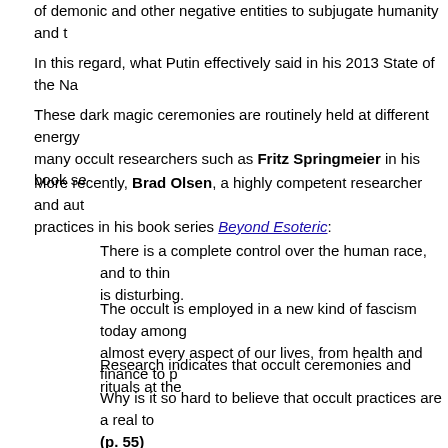of demonic and other negative entities to subjugate humanity and t
In this regard, what Putin effectively said in his 2013 State of the Na
These dark magic ceremonies are routinely held at different energy many occult researchers such as Fritz Springmeier in his book se
More recently, Brad Olsen, a highly competent researcher and aut practices in his book series Beyond Esoteric:
There is a complete control over the human race, and to thin is disturbing.
The occult is employed in a new kind of fascism today among almost every aspect of our lives, from health and finance to p
Research indicates that occult ceremonies and rituals at the
Why is it so hard to believe that occult practices are a real to (p. 55)
Importantly, Thor Han pointed out the explicit connection between t meetings held five months later.
A provision of the Accords (Agreements) was the surrender of the C by Christine Lagarde's July tweet that meetings were to be held in
Her tweet is compelling evidence that the cabal had indeed been